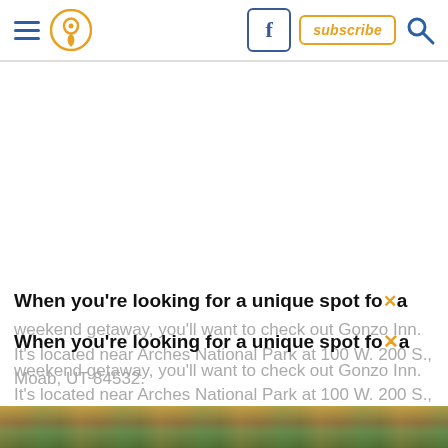Navigation header with hamburger menu, location pin icon, Facebook button, subscribe button, and search icon
When you're looking for a unique spot for a weekend getaway, you'll want to check out Gonzo Inn. It's located near Arches National Park at 100 W. 200 S., Moab, UT 84532.
[Figure (photo): Bottom strip showing a scenic outdoor landscape, likely near Arches National Park area with earthy brown and green tones]